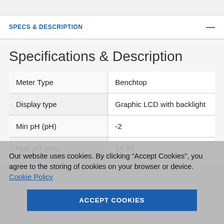SPECS & DESCRIPTION
Specifications & Description
|  |  |
| --- | --- |
| Meter Type | Benchtop |
| Display type | Graphic LCD with backlight |
| Min pH (pH) | -2 |
| Max pH (pH) | 19.99 |
Our website uses cookies. By clicking “Accept Cookies”, you agree to the storing of cookies on your browser or device. Cookie Policy
ACCEPT COOKIES